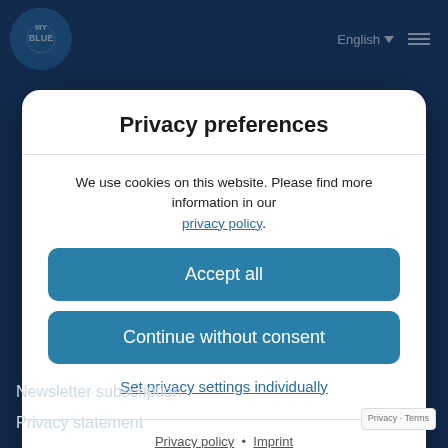[Figure (screenshot): Website navigation bar with MyBlue logo, English language selector, and hamburger menu on dark blue background]
Privacy preferences
We use cookies on this website. Please find more information in our privacy policy.
Accept all
Continue without consent
Set privacy settings individually
Privacy policy • Imprint
WordPress Cookie Notice by Real Cookie Banner
Newsletter subscription
Privacy statement